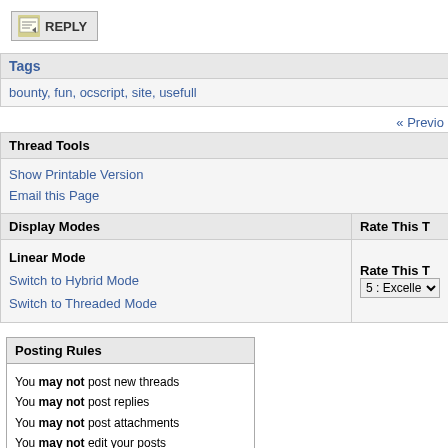REPLY (button)
Tags
bounty, fun, ocscript, site, usefull
« Previo
Thread Tools
Show Printable Version
Email this Page
Display Modes
Rate This T
Linear Mode
Switch to Hybrid Mode
Switch to Threaded Mode
Rate This T
5 : Excelle
Posting Rules
You may not post new threads
You may not post replies
You may not post attachments
You may not edit your posts
BB code is On
Smilies are On
[IMG] code is Off
HTML code is Off
Forum Rules